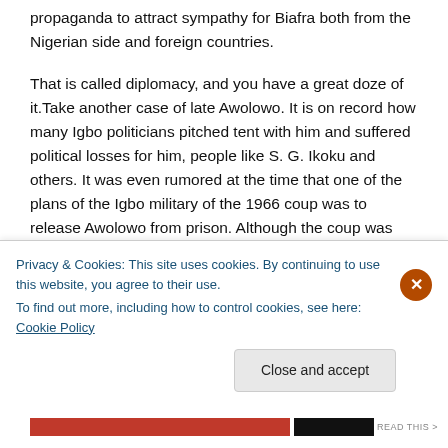propaganda to attract sympathy for Biafra both from the Nigerian side and foreign countries.
That is called diplomacy, and you have a great doze of it.Take another case of late Awolowo. It is on record how many Igbo politicians pitched tent with him and suffered political losses for him, people like S. G. Ikoku and others. It was even rumored at the time that one of the plans of the Igbo military of the 1966 coup was to release Awolowo from prison. Although the coup was quashed, it turned that it was Ojukwu as Military governor of Eastern Region who released Awolowo
Privacy & Cookies: This site uses cookies. By continuing to use this website, you agree to their use.
To find out more, including how to control cookies, see here: Cookie Policy
Close and accept